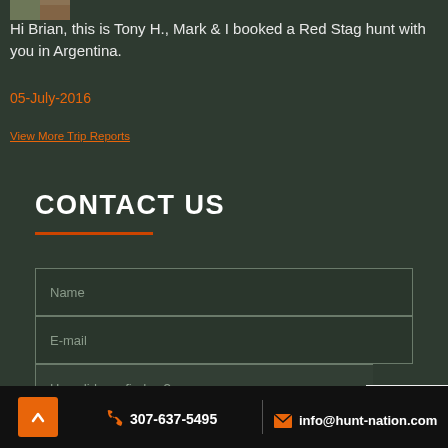[Figure (photo): Small thumbnail image of a hunting scene]
Hi Brian, this is Tony H., Mark & I booked a Red Stag hunt with you in Argentina.
05-July-2016
View More Trip Reports
CONTACT US
Name
E-mail
How did you find us?
307-637-5495 | info@hunt-nation.com